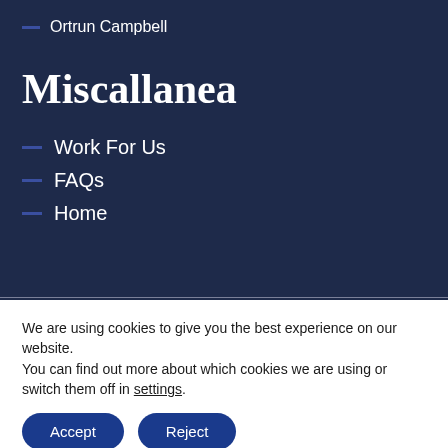– Ortrun Campbell
Miscallanea
– Work For Us
– FAQs
– Home
We are using cookies to give you the best experience on our website.
You can find out more about which cookies we are using or switch them off in settings.
Accept  Reject